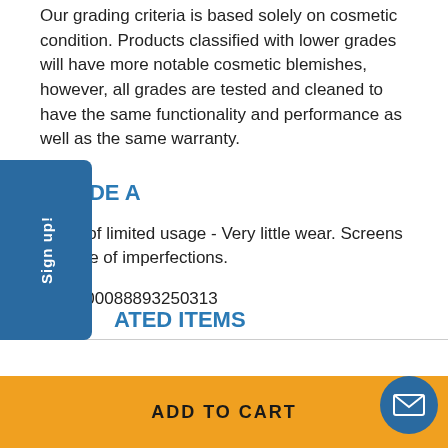Our grading criteria is based solely on cosmetic condition. Products classified with lower grades will have more notable cosmetic blemishes, however, all grades are tested and cleaned to have the same functionality and performance as well as the same warranty.
GRADE A
Signs of limited usage - Very little wear. Screens are free of imperfections.
UPC: 00088893250313
ATED ITEMS
Sign up!
ADD TO CART